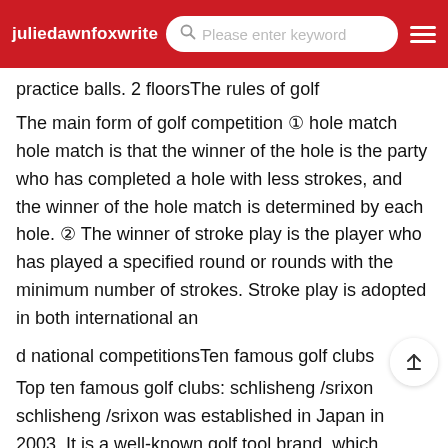juliedawnfoxwrite  Please enter keyword
practice balls. 2 floorsThe rules of golf
The main form of golf competition ① hole match hole match is that the winner of the hole is the party who has completed a hole with less strokes, and the winner of the hole match is determined by each hole. ② The winner of stroke play is the player who has played a specified round or rounds with the minimum number of strokes. Stroke play is adopted in both international an
d national competitionsTen famous golf clubs
Top ten famous golf clubs: schlisheng /srixon schlisheng /srixon was established in Japan in 2003. It is a well-known golf tool brand, which originates from Japanese technolo Its products include golf clubs and golf balls. It is a well-known enterprise specializing in the production of high-end golf tools. PGM PGM was established in 2003 as a domestic